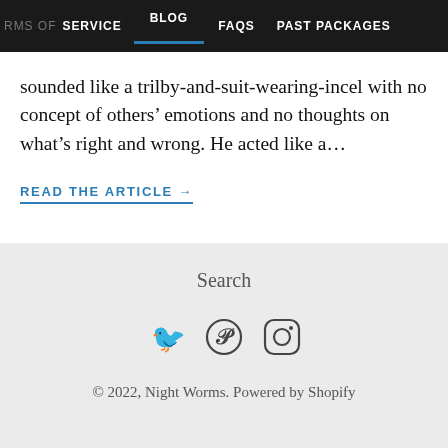RMS OF SERVICE   BLOG   FAQs   PAST PACKAGES
sounded like a trilby-and-suit-wearing-incel with no concept of others’ emotions and no thoughts on what’s right and wrong. He acted like a…
READ THE ARTICLE →
Search
[Figure (illustration): Social media icons: Twitter bird, Pinterest P-circle, Instagram camera-circle]
© 2022, Night Worms. Powered by Shopify